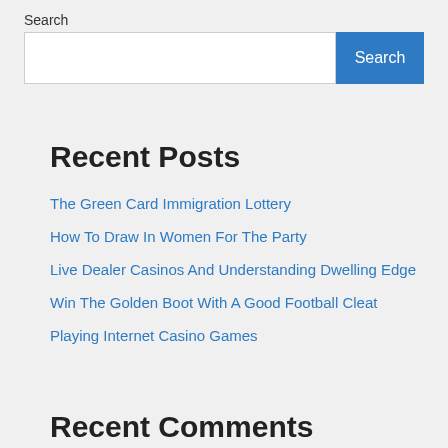Search
Search
Recent Posts
The Green Card Immigration Lottery
How To Draw In Women For The Party
Live Dealer Casinos And Understanding Dwelling Edge
Win The Golden Boot With A Good Football Cleat
Playing Internet Casino Games
Recent Comments